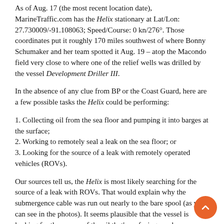As of Aug. 17 (the most recent location date), MarineTraffic.com has the Helix stationary at Lat/Lon: 27.730009/-91.108063; Speed/Course: 0 kn/276°. Those coordinates put it roughly 170 miles southwest of where Bonny Schumaker and her team spotted it Aug. 19 – atop the Macondo field very close to where one of the relief wells was drilled by the vessel Development Driller III.
In the absence of any clue from BP or the Coast Guard, here are a few possible tasks the Helix could be performing:
1. Collecting oil from the sea floor and pumping it into barges at the surface;
2. Working to remotely seal a leak on the sea floor; or
3. Looking for the source of a leak with remotely operated vehicles (ROVs).
Our sources tell us, the Helix is most likely searching for the source of a leak with ROVs. That would explain why the submergence cable was run out nearly to the bare spool (as you can see in the photos). It seems plausible that the vessel is looking for the source of the oil that's surfacing nearby.